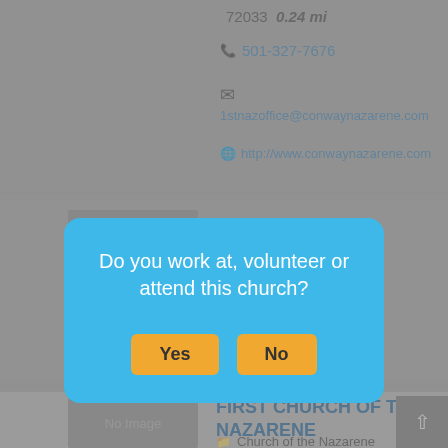72033  0.24 mi
501-327-7676
1stnazoffice@conwaynazarene.com
http://www.conwaynazarene.com
[Figure (screenshot): No Image placeholder for a church listing]
http://www.conwayfbc.com/
[Figure (other): Modal dialog box asking 'Do you work at, volunteer or attend this church?' with Yes and No buttons]
[Figure (photo): No Image placeholder for First Church of the Nazarene]
FIRST CHURCH OF THE NAZARENE
Church of the Nazarene